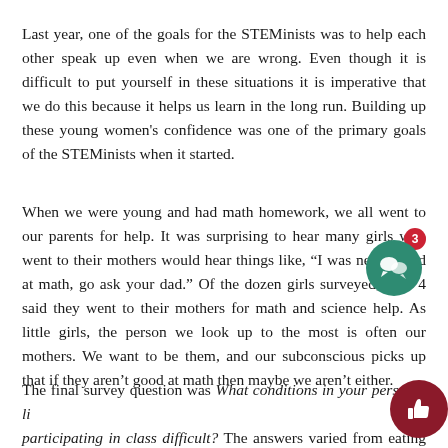Last year, one of the goals for the STEMinists was to help each other speak up even when we are wrong. Even though it is difficult to put yourself in these situations it is imperative that we do this because it helps us learn in the long run. Building up these young women's confidence was one of the primary goals of the STEMinists when it started.
When we were young and had math homework, we all went to our parents for help. It was surprising to hear many girls who went to their mothers would hear things like, “I was never good at math, go ask your dad.” Of the dozen girls surveyed, only 4 said they went to their mothers for math and science help. As little girls, the person we look up to the most is often our mothers. We want to be them, and our subconscious picks up that if they aren’t good at math then maybe we aren’t either.
The final survey question was What conditions in your personal li... participating in class difficult? The answers varied from eating diso...
[Figure (other): Green circular chat/comment button with a speech bubble icon and a red notification badge showing '3', plus a dark red circular thumbs-up button below it.]